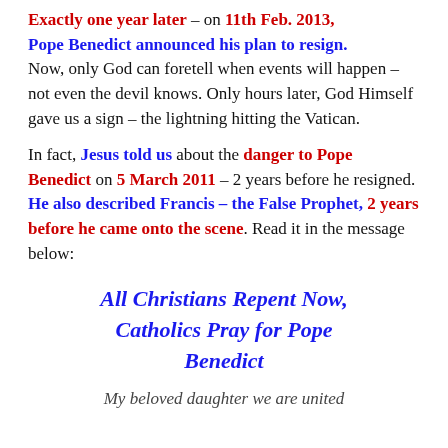Exactly one year later – on 11th Feb. 2013, Pope Benedict announced his plan to resign. Now, only God can foretell when events will happen – not even the devil knows. Only hours later, God Himself gave us a sign – the lightning hitting the Vatican.
In fact, Jesus told us about the danger to Pope Benedict on 5 March 2011 – 2 years before he resigned. He also described Francis – the False Prophet, 2 years before he came onto the scene. Read it in the message below:
All Christians Repent Now, Catholics Pray for Pope Benedict
My beloved daughter we are united